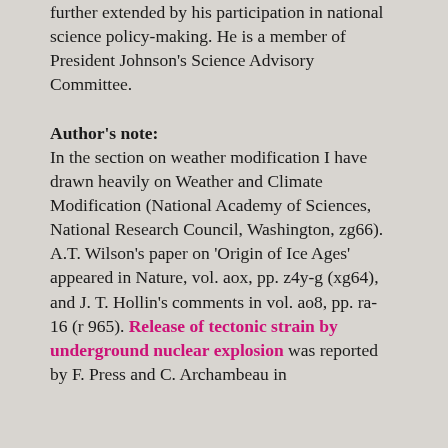further extended by his participation in national science policy-making. He is a member of President Johnson's Science Advisory Committee.
Author's note: In the section on weather modification I have drawn heavily on Weather and Climate Modification (National Academy of Sciences, National Research Council, Washington, zg66). A.T. Wilson's paper on 'Origin of Ice Ages' appeared in Nature, vol. aox, pp. z4y-g (xg64), and J. T. Hollin's comments in vol. ao8, pp. ra-16 (r 965). Release of tectonic strain by underground nuclear explosion was reported by F. Press and C. Archambeau in